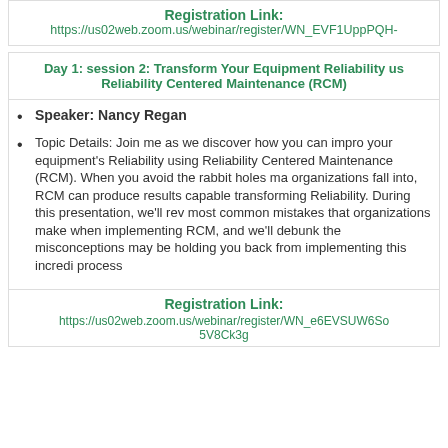Registration Link:
https://us02web.zoom.us/webinar/register/WN_EVF1UppPQH-
Day 1: session 2: Transform Your Equipment Reliability us Reliability Centered Maintenance (RCM)
Speaker: Nancy Regan
Topic Details: Join me as we discover how you can impro your equipment's Reliability using Reliability Centered Maintenance (RCM). When you avoid the rabbit holes ma organizations fall into, RCM can produce results capable transforming Reliability. During this presentation, we'll rev most common mistakes that organizations make when implementing RCM, and we'll debunk the misconceptions may be holding you back from implementing this incredi process
Registration Link:
https://us02web.zoom.us/webinar/register/WN_e6EVSUW6So 5V8Ck3g